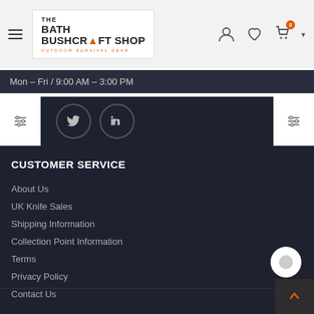[Figure (logo): The Bath Bushcraft Shop logo with hamburger menu icon on left and user/heart/cart icons on right in a light grey header bar]
Mon - Fri / 9:00 AM - 3:00 PM
[Figure (screenshot): Social media icons (Twitter, LinkedIn) with circular borders, flanked by filter/sort buttons on both sides]
CUSTOMER SERVICE
About Us
UK Knife Sales
Shipping Information
Collection Point Information
Terms
Privacy Policy
Contact Us